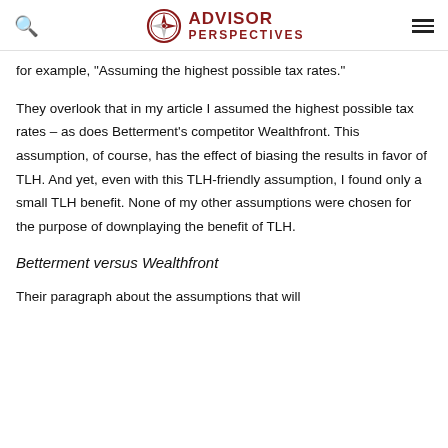ADVISOR PERSPECTIVES
for example, "Assuming the highest possible tax rates."
They overlook that in my article I assumed the highest possible tax rates – as does Betterment's competitor Wealthfront. This assumption, of course, has the effect of biasing the results in favor of TLH. And yet, even with this TLH-friendly assumption, I found only a small TLH benefit. None of my other assumptions were chosen for the purpose of downplaying the benefit of TLH.
Betterment versus Wealthfront
Their paragraph about the assumptions that will